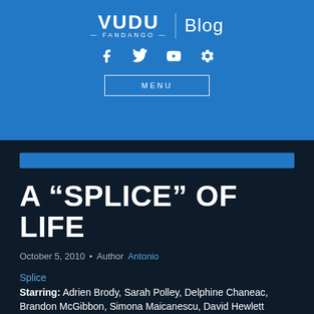VUDU FANDANGO | Blog
[Figure (logo): VUDU Fandango Blog logo with social media icons (Facebook, Twitter, YouTube, Settings) and MENU button on blue background]
A “SPLICE” OF LIFE
October 5, 2010 • Author Antonio
Splice
Starring: Adrien Brody, Sarah Polley, Delphine Chaneac, Brandon McGibbon, Simona Maicanescu, David Hewlett
Director: Vincenzo Natali